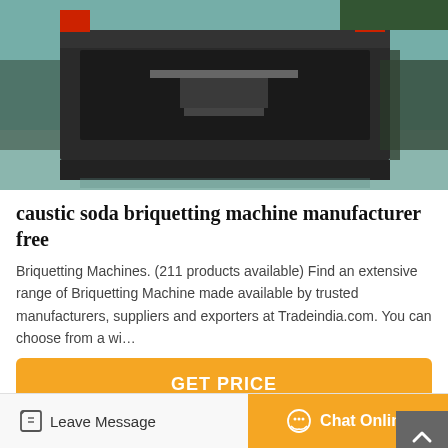[Figure (photo): Industrial briquetting machine, large dark metal frame structure photographed in a factory/warehouse setting with green/teal walls]
caustic soda briquetting machine manufacturer free
Briquetting Machines. (211 products available) Find an extensive range of Briquetting Machine made available by trusted manufacturers, suppliers and exporters at Tradeindia.com. You can choose from a wi…
GET PRICE
[Figure (photo): Partial view of building exterior or industrial facility, showing orange and grey panels]
Leave Message
Chat Online